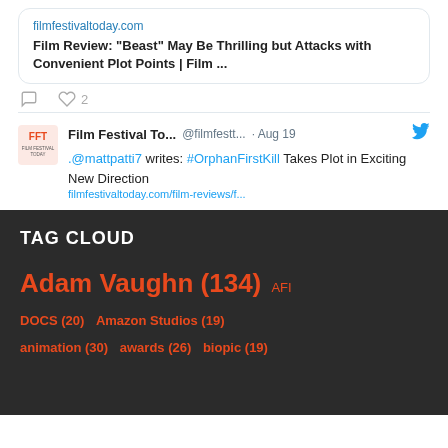filmfestivaltoday.com
Film Review: “Beast” May Be Thrilling but Attacks with Convenient Plot Points | Film ...
Film Festival To... @filmfestt... · Aug 19
.@mattpatti7 writes: #OrphanFirstKill Takes Plot in Exciting New Direction
filmfestivaltoday.com/film-reviews/f...
TAG CLOUD
Adam Vaughn (134) AFI
DOCS (20) Amazon Studios (19)
animation (30) awards (26) biopic (19)